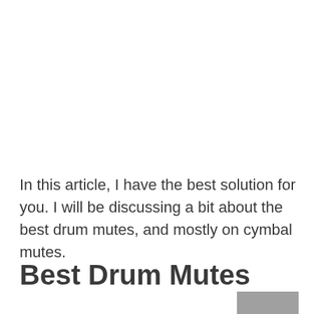In this article, I have the best solution for you. I will be discussing a bit about the best drum mutes, and mostly on cymbal mutes.
Best Drum Mutes